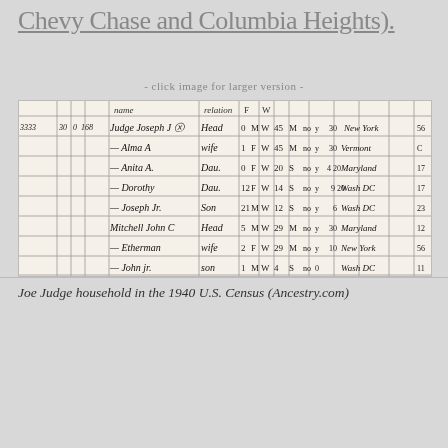Chevy Chase and Columbia Heights).
- click image for larger version -
[Figure (photo): Handwritten 1940 U.S. Census record showing the Joe Judge household with entries for Judge Joseph J. (head), Alma A. (wife), Anita A. (daughter), Dorothy (daughter), Joseph Jr. (son), followed by Mitchell John C. (head), Etherman (wife), John Jr. (son). Columns show age, sex, race, and birthplace information.]
Joe Judge household in the 1940 U.S. Census (Ancestry.com)